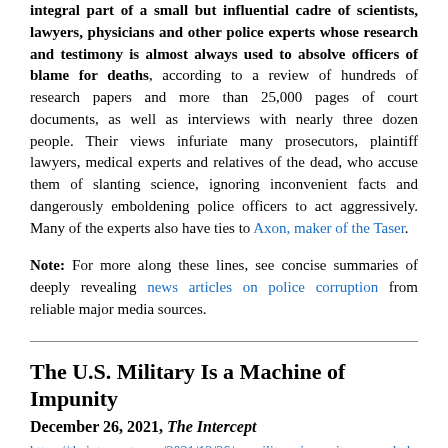integral part of a small but influential cadre of scientists, lawyers, physicians and other police experts whose research and testimony is almost always used to absolve officers of blame for deaths, according to a review of hundreds of research papers and more than 25,000 pages of court documents, as well as interviews with nearly three dozen people. Their views infuriate many prosecutors, plaintiff lawyers, medical experts and relatives of the dead, who accuse them of slanting science, ignoring inconvenient facts and dangerously emboldening police officers to act aggressively. Many of the experts also have ties to Axon, maker of the Taser.
Note: For more along these lines, see concise summaries of deeply revealing news articles on police corruption from reliable major media sources.
The U.S. Military Is a Machine of Impunity
December 26, 2021, The Intercept
https://theintercept.com/2021/12/26/us-military-impunity-generals-kabul-serbia/